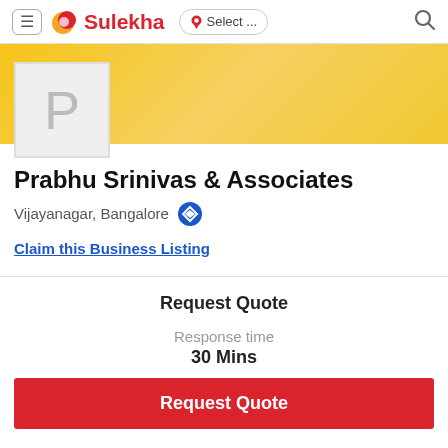≡ Sulekha  📍 Select ...  🔍
[Figure (logo): Sulekha logo with red and yellow swirl icon and red bold text 'Sulekha']
Prabhu Srinivas & Associates
Vijayanagar, Bangalore
Claim this Business Listing
Request Quote
Response time
30 Mins
Request Quote